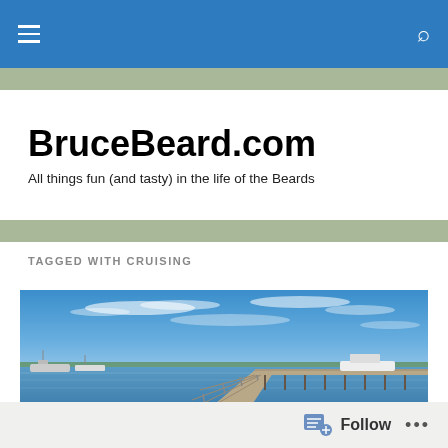BruceBeard.com navigation bar
BruceBeard.com
All things fun (and tasty) in the life of the Beards
TAGGED WITH CRUISING
[Figure (photo): Marina/dock scene with a wooden pier extending over calm water under blue sky with light clouds, boats moored to the left, rocky shoreline in the foreground with a park bench]
Follow